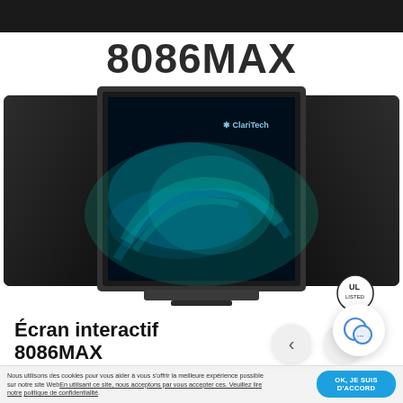8086MAX
[Figure (photo): Interactive display panel 8086MAX - a wide screen device with two dark side panels and a central screen showing aurora borealis imagery with a ClariTech logo. UL Listed badge visible at bottom right.]
Écran interactif 8086MAX
Nous utilisons des cookies pour vous aider à vous offrir la meilleure expérience possible sur notre site Web. En utilisant ce site, vous acceptez ces. Veuillez lire notre politique de confidentialité.
OK, JE SUIS D'ACCORD